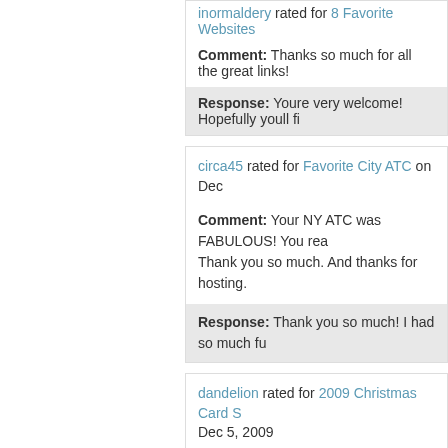inormaldery rated for 8 Favorite Websites
Comment: Thanks so much for all the great links!
Response: Youre very welcome! Hopefully youll fi
circa45 rated for Favorite City ATC on Dec
Comment: Your NY ATC was FABULOUS! You rea Thank you so much. And thanks for hosting.
Response: Thank you so much! I had so much fu
dandelion rated for 2009 Christmas Card S Dec 5, 2009
Comment: Thank you for the ADORABLE card!! :)
RobinT rated for 2009 Christmas Card Sw Dec 4, 2009
Comment: Thank you so much for the Christmas